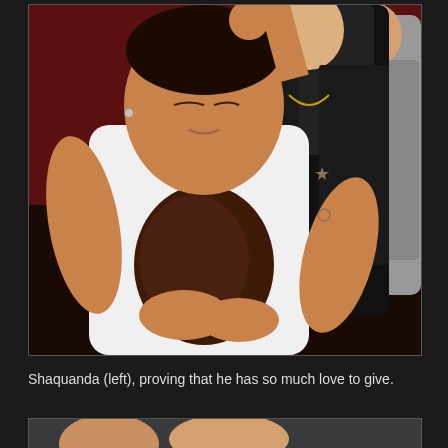[Figure (photo): A man in a white sleeveless shirt leaning forward holding a dark stuffed animal or object against his chest, eyes closed. Behind him stands a man in a black leather jacket, and to the right a man in a grey shirt. The scene appears to be at a nightclub or party with dark red background.]
Shaquanda (left), proving that he has so much love to give.
[Figure (photo): Bottom cropped photo, partially visible.]